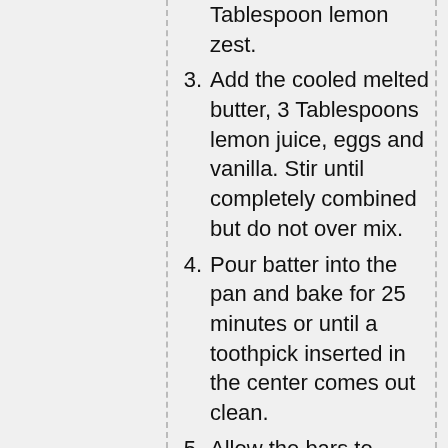Tablespoon lemon zest.
Add the cooled melted butter, 3 Tablespoons lemon juice, eggs and vanilla. Stir until completely combined but do not over mix.
Pour batter into the pan and bake for 25 minutes or until a toothpick inserted in the center comes out clean.
Allow the bars to completely cool before preparing the icing.
For the icing, sift the confectioners sugar into a medium bowl. Add the 2 Tablespoons lemon juice and 1 teaspoon zest and stir